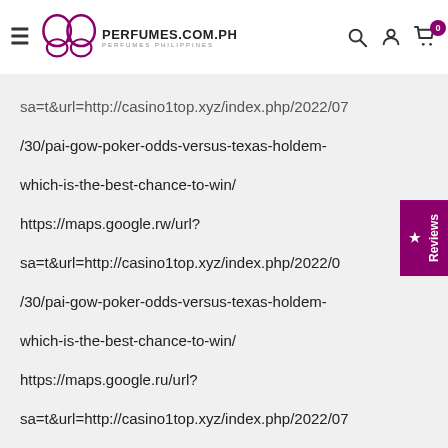PERFUMES.COM.PH — Perfumes Philippines
sa=t&url=http://casino1top.xyz/index.php/2022/07/30/pai-gow-poker-odds-versus-texas-holdem-which-is-the-best-chance-to-win/ https://maps.google.rw/url?sa=t&url=http://casino1top.xyz/index.php/2022/0/30/pai-gow-poker-odds-versus-texas-holdem-which-is-the-best-chance-to-win/ https://maps.google.ru/url?sa=t&url=http://casino1top.xyz/index.php/2022/07/30/pai-gow-poker-odds-versus-texas-holdem-which-is-the-best-chance-to-win/ https://maps.google.rs/url?sa=t&url=http://casino1top.xyz/index.php/2022/07